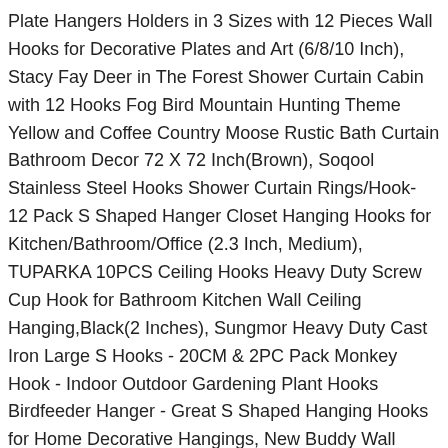Plate Hangers Holders in 3 Sizes with 12 Pieces Wall Hooks for Decorative Plates and Art (6/8/10 Inch), Stacy Fay Deer in The Forest Shower Curtain Cabin with 12 Hooks Fog Bird Mountain Hunting Theme Yellow and Coffee Country Moose Rustic Bath Curtain Bathroom Decor 72 X 72 Inch(Brown), Soqool Stainless Steel Hooks Shower Curtain Rings/Hook- 12 Pack S Shaped Hanger Closet Hanging Hooks for Kitchen/Bathroom/Office (2.3 Inch, Medium), TUPARKA 10PCS Ceiling Hooks Heavy Duty Screw Cup Hook for Bathroom Kitchen Wall Ceiling Hanging,Black(2 Inches), Sungmor Heavy Duty Cast Iron Large S Hooks - 20CM & 2PC Pack Monkey Hook - Indoor Outdoor Gardening Plant Hooks Birdfeeder Hanger - Great S Shaped Hanging Hooks for Home Decorative Hangings, New Buddy Wall Hooks In Our Hooks Collection.